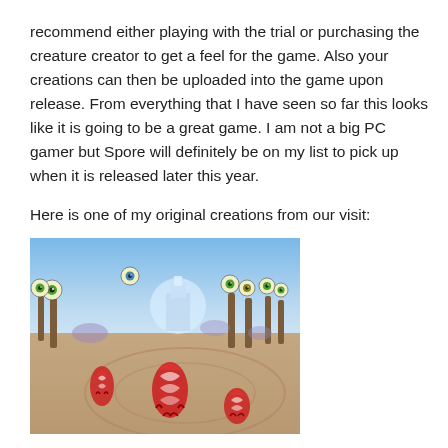recommend either playing with the trial or purchasing the creature creator to get a feel for the game. Also your creations can then be uploaded into the game upon release. From everything that I have seen so far this looks like it is going to be a great game. I am not a big PC gamer but Spore will definitely be on my list to pick up when it is released later this year.

Here is one of my original creations from our visit:
[Figure (screenshot): A screenshot from the video game Spore showing three red and white creature characters standing on a sandy terrain with trees bearing large eyeball fruit and a glowing structure in the background under a blue sky.]